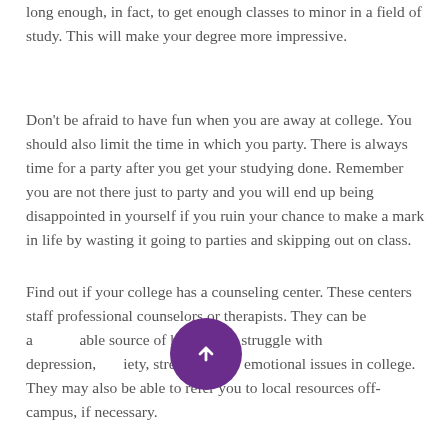long enough, in fact, to get enough classes to minor in a field of study. This will make your degree more impressive.
Don't be afraid to have fun when you are away at college. You should also limit the time in which you party. There is always time for a party after you get your studying done. Remember you are not there just to party and you will end up being disappointed in yourself if you ruin your chance to make a mark in life by wasting it going to parties and skipping out on class.
Find out if your college has a counseling center. These centers staff professional counselors or therapists. They can be a valuable source of help if you struggle with depression, anxiety, stress or other emotional issues in college. They may also be able to refer you to local resources off-campus, if necessary.